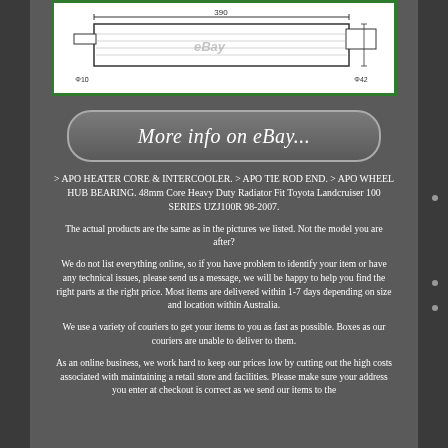[Figure (engineering-diagram): Technical drawing of a radiator core with dimensions: 390mm width, Φ10 and Φ42 diameter fittings, shown with eBay watermark]
[Figure (other): More info on eBay... button with rounded rectangle border]
> APO HEATER CORE & INTERCOOLER. > APO TIE ROD END. > APO WHEEL HUB BEARING. 48mm Core Heavy Duty Radiator Fit Toyota Landcruiser 100 SERIES UZJ100R 98-2007.
The actual products are the same as in the pictures we listed. Not the model you are after?
We do not list everything online, so if you have problem to identify your item or have any technical issues, please send us a message, we will be happy to help you find the right parts at the right price. Most items are delivered within 1-7 days depending on size and location within Australia.
We use a variety of couriers to get your items to you as fast as possible. Boxes as our couriers are unable to deliver to them.
As an online business, we work hard to keep our prices low by cutting out the high costs associated with maintaining a retail store and facilities. Please make sure your address you enter at checkout is correct as we send our items to the